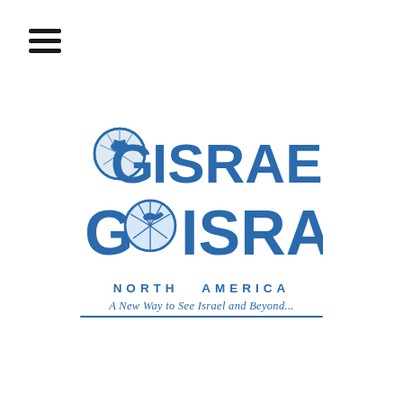[Figure (logo): Hamburger menu icon with three horizontal bars in the top left corner]
[Figure (logo): Go Israel North America logo with globe icon, large blue text 'GO ISRAEL', 'NORTH AMERICA' subtitle, and italic tagline 'A New Way to See Israel and Beyond...' with underline]